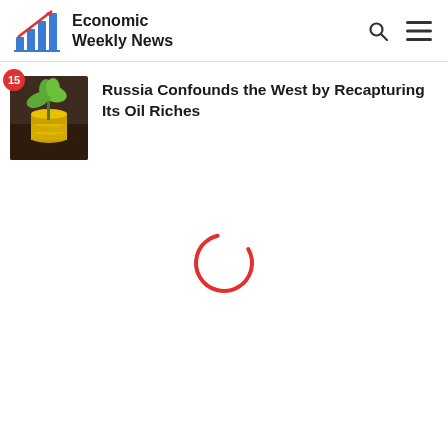Economic Weekly News
[Figure (screenshot): News app screenshot showing Economic Weekly News header with logo, search and menu icons, a news article thumbnail (plant growing from coins), badge showing 15, headline 'Russia Confounds the West by Recapturing Its Oil Riches', and a loading spinner in the middle of the page]
Russia Confounds the West by Recapturing Its Oil Riches